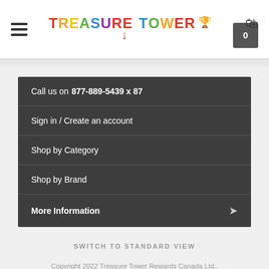[Figure (logo): Treasure Tower logo with colorful text and chest/arrow icon]
Call us on 877-889-5439 x 87
Sign in / Create an account
Shop by Category
Shop by Brand
More Information
SWITCH TO STANDARD VIEW
Copyright 2022 Treasure Tower Rewards Canada Ltd.. Powered by BigCommerce